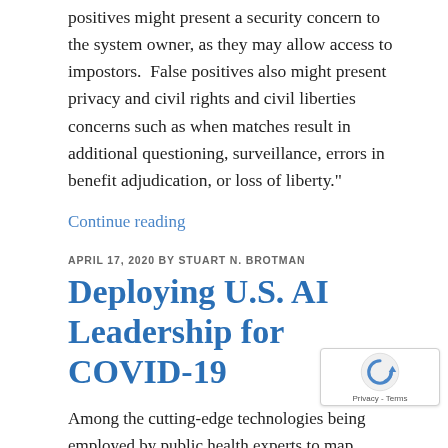positives might present a security concern to the system owner, as they may allow access to impostors. False positives also might present privacy and civil rights and civil liberties concerns such as when matches result in additional questioning, surveillance, errors in benefit adjudication, or loss of liberty."
Continue reading
APRIL 17, 2020 BY STUART N. BROTMAN
Deploying U.S. AI Leadership for COVID-19
Among the cutting-edge technologies being employed by public health experts to map various aspects of COVID-19 both at home and abroad, artificial intelligence (AI) faces a test under life-and-death circumstances. The